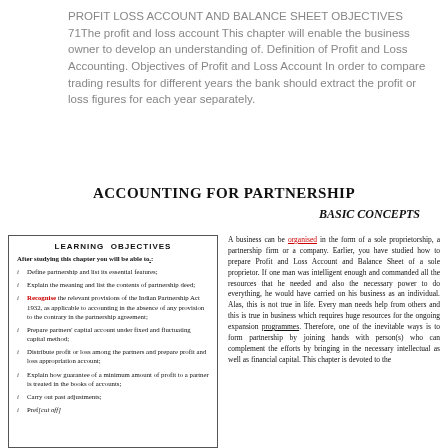PROFIT LOSS ACCOUNT AND BALANCE SHEET OBJECTIVES 71The profit and loss account This chapter will enable the business owner to develop an understanding of. Definition of Profit and Loss Accounting. Objectives of Profit and Loss Account In order to compare trading results for different years the bank should extract the profit or loss figures for each year separately.
ACCOUNTING FOR PARTNERSHIP
BASIC CONCEPTS
LEARNING OBJECTIVES
After studying this chapter you will be able to.:
Define partnership and list its essential features;
Explain the meaning and list the contents of partnership deed;
Recognise the relevant provisions of the Indian Partnership Act 1932, as applicable to accounting in the absence of any provision to the contrary in the partnership agreement;
Prepare partners' capital account under fixed and fluctuating capital method;
Distribute profit or loss among the partners and prepare profit and loss appropriation account;
Explain how guarantee of a minimum amount of profit to a partner is treated in the books of accounts;
Carry out past adjustments;
[partial - cut off]
A business can be organised in the form of a sole proprietorship, a partnership firm or a company. Earlier, you have studied how to prepare Profit and Loss Account and Balance Sheet of a sole proprietor. If one man was intelligent enough and commanded all the resources that he needed and also the necessary power to do everything, he would have carried on his business as an individual. Alas, this is not true in life. Every man needs help from others and this is true in business which requires huge resources for the ongoing expansion programmes. Therefore, one of the inevitable ways is to form partnership by joining hands with person(s) who can complement the efforts by bringing in the necessary intellectual as well as financial capital. This chapter is devoted to the